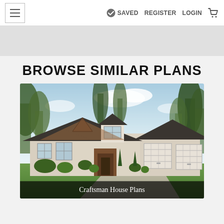≡   SAVED  REGISTER  LOGIN  🛒
BROWSE SIMILAR PLANS
[Figure (photo): Craftsman style house exterior rendering showing a single-story home with dark roof, brown shingle gable accents, white siding, double garage doors, green landscaping and trees in background]
Craftsman House Plans